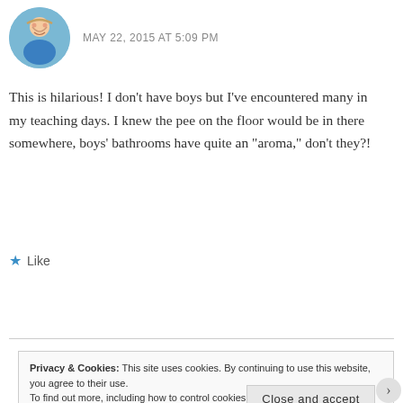MAY 22, 2015 AT 5:09 PM
This is hilarious! I don't have boys but I've encountered many in my teaching days. I knew the pee on the floor would be in there somewhere, boys' bathrooms have quite an “aroma,” don't they?!
★ Like
Reply
Privacy & Cookies: This site uses cookies. By continuing to use this website, you agree to their use.
To find out more, including how to control cookies, see here: Cookie Policy
Close and accept